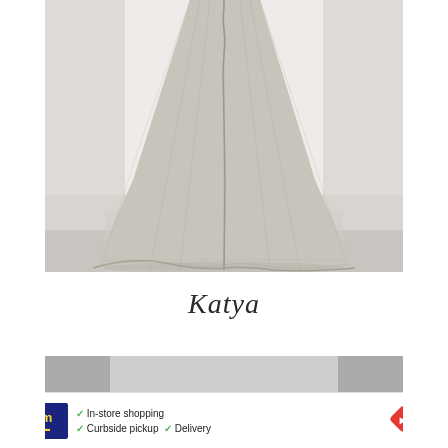[Figure (photo): Photo of a white/ivory lace wedding dress displayed from the back, showing a long flowing train with intricate lace detailing, photographed in a bright studio with white walls and light floor.]
Katya
[Figure (screenshot): Advertisement banner for 'cm' store showing in-store shopping, curbside pickup, and delivery options with a navigation arrow icon and close button.]